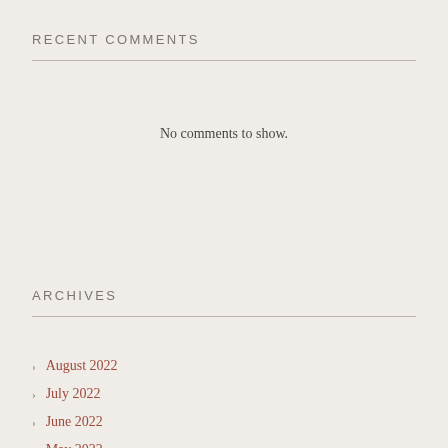RECENT COMMENTS
No comments to show.
ARCHIVES
August 2022
July 2022
June 2022
May 2022